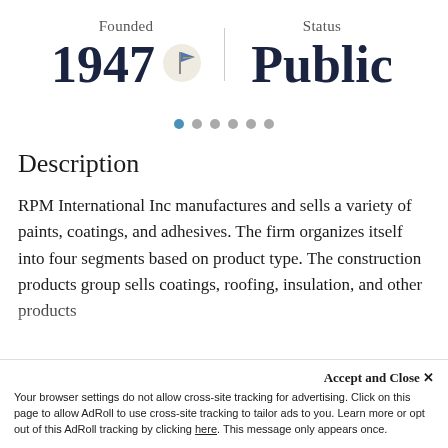Founded
1947
Status
Public
[Figure (infographic): Pagination dots row: 6 dots, first dot highlighted in teal/blue, remaining in gray]
Description
RPM International Inc manufactures and sells a variety of paints, coatings, and adhesives. The firm organizes itself into four segments based on product type. The construction products group sells coatings, roofing, insulation, and other products
Accept and Close ✕
Your browser settings do not allow cross-site tracking for advertising. Click on this page to allow AdRoll to use cross-site tracking to tailor ads to you. Learn more or opt out of this AdRoll tracking by clicking here. This message only appears once.